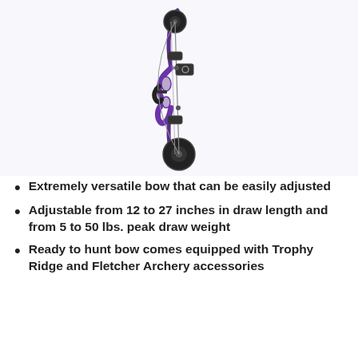[Figure (photo): A purple compound bow photographed against a white/light background, showing the riser, cams, limbs, and string.]
Extremely versatile bow that can be easily adjusted
Adjustable from 12 to 27 inches in draw length and from 5 to 50 lbs. peak draw weight
Ready to hunt bow comes equipped with Trophy Ridge and Fletcher Archery accessories